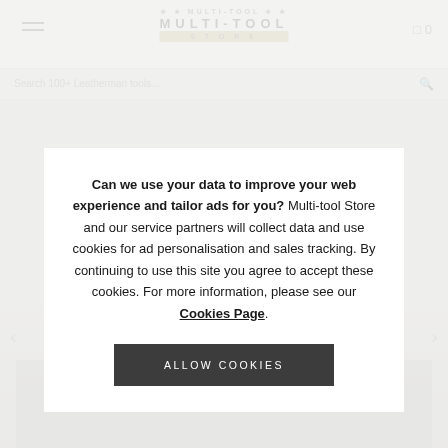[Figure (screenshot): Background of a multi-tool e-commerce website with navigation bar, logo reading MULTI-TOOL STORE, search bar, and product images of multi-tools]
Can we use your data to improve your web experience and tailor ads for you? Multi-tool Store and our service partners will collect data and use cookies for ad personalisation and sales tracking. By continuing to use this site you agree to accept these cookies. For more information, please see our Cookies Page.
ALLOW COOKIES